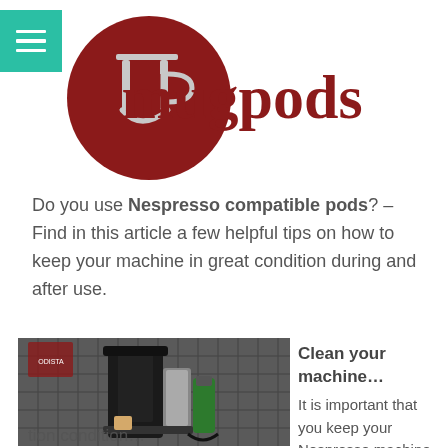[Figure (logo): Mugpods logo: dark red circular mug icon with 'mugpods' text in dark red, and a teal hamburger menu icon in top-left corner]
Do you use Nespresso compatible pods? – Find in this article a few helpful tips on how to keep your machine in great condition during and after use.
[Figure (photo): Photo of a Nespresso coffee machine on a kitchen counter with coffee pods and accessories visible, tile backsplash in background]
Clean your machine…
It is important that you keep your Nespresso machine in
tion condition...